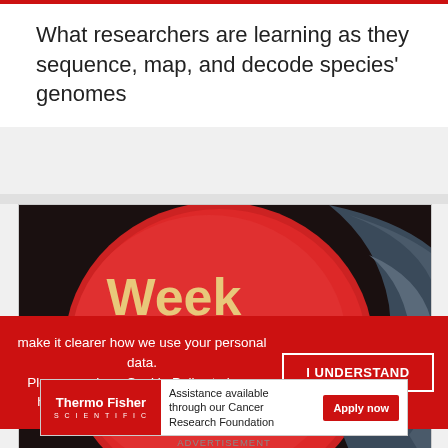What researchers are learning as they sequence, map, and decode species' genomes
[Figure (photo): A gloved hand holding a red petri dish with text overlay reading 'Week in Review' in golden/pink letters on a red background]
make it clearer how we use your personal data.
Please read our Cookie Policy to learn how we use cookies to provide you
[Figure (infographic): Thermo Fisher Scientific advertisement banner: Assistance available through our Cancer Research Foundation, with Apply now button]
ADVERTISEMENT